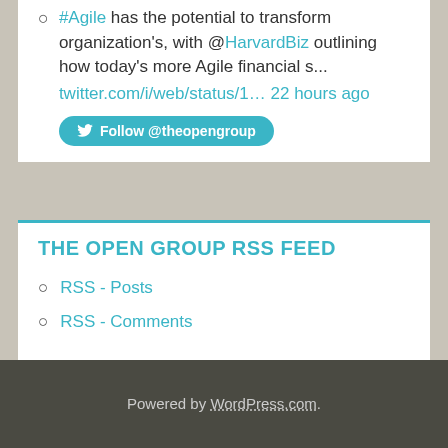#Agile has the potential to transform organization's, with @HarvardBiz outlining how today's more Agile financial s... twitter.com/i/web/status/1... 22 hours ago
Follow @theopengroup
THE OPEN GROUP RSS FEED
RSS - Posts
RSS - Comments
Powered by WordPress.com.